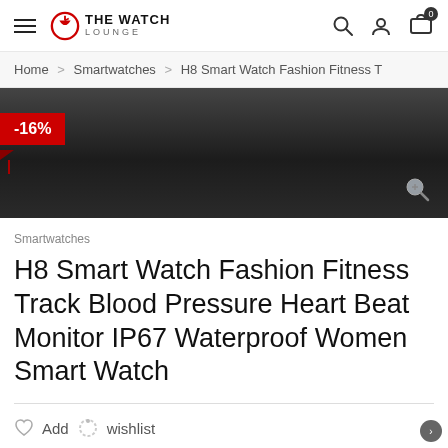THE WATCH LOUNGE
Home > Smartwatches > H8 Smart Watch Fashion Fitness T
[Figure (photo): Product image area with dark gradient background, -16% discount badge in red on the left, and a magnifier icon at the bottom right]
Smartwatches
H8 Smart Watch Fashion Fitness Track Blood Pressure Heart Beat Monitor IP67 Waterproof Women Smart Watch
Add to wishlist